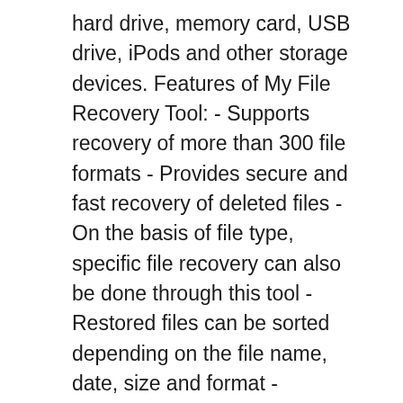hard drive, memory card, USB drive, iPods and other storage devices. Features of My File Recovery Tool: - Supports recovery of more than 300 file formats - Provides secure and fast recovery of deleted files - On the basis of file type, specific file recovery can also be done through this tool - Restored files can be sorted depending on the file name, date, size and format - Efficiently recover files after formatting the hard drive - Recover files from different brands of memory cards like Transcend, Kingston, Sony etc. - Recover files after emptying the Recycle Bin folder - Files got deleted during the process of system restore can be recovered through this tool - Consists of recovery session option which helps to save and resume the recovery process - Support recovery of files on windows OS versions like Windows 10, Windows 8, Windows 7, Windows XP, Windows Vista, Windows Server 2003 and Server 2008 Download the demo version of the software and preview the